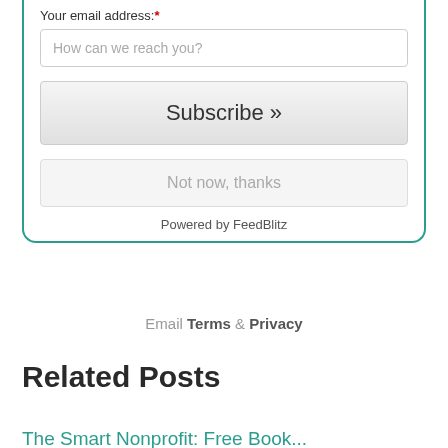Your email address: *
How can we reach you?
Subscribe »
Not now, thanks
Powered by FeedBlitz
Email Terms & Privacy
Related Posts
The Smart Nonprofit: Free Book...